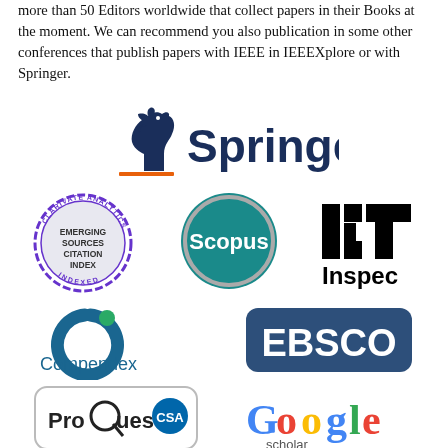more than 50 Editors worldwide that collect papers in their Books at the moment. We can recommend you also publication in some other conferences that publish papers with IEEE in IEEEXplore or with Springer.
[Figure (logo): Springer logo with horse chess piece and orange underline]
[Figure (logo): Row of publisher logos: Clarivate Analytics Emerging Sources Citation Index Indexed badge, Scopus logo, IET Inspec logo]
[Figure (logo): Row of publisher logos: Compendex logo and EBSCO logo]
[Figure (logo): Row of publisher logos: ProQuest CSA logo and Google Scholar logo]